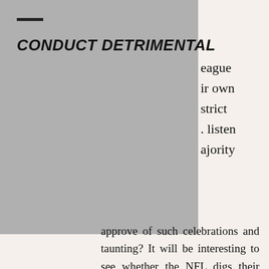CONDUCT DETRIMENTAL
approve of such celebrations and taunting? It will be interesting to see whether the NFL digs their heels in, or whether they decide to pull back.
Daniel A. Goldstein is a practicing attorney at Carnes Warwick PLLC in Raleigh, North Carolina. He is a graduate of Campbell University's School of Law, and obtained his undergraduate degree from the